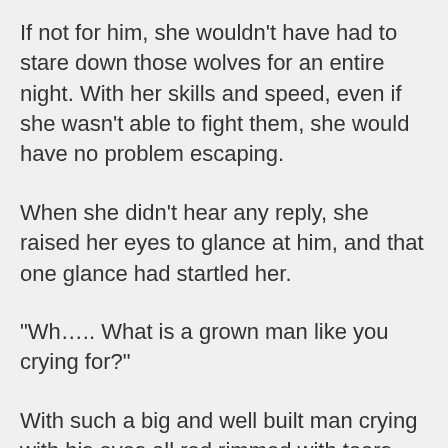If not for him, she wouldn't have had to stare down those wolves for an entire night. With her skills and speed, even if she wasn't able to fight them, she would have no problem escaping.
When she didn't hear any reply, she raised her eyes to glance at him, and that one glance had startled her.
"Wh….. What is a grown man like you crying for?"
With such a big and well built man crying with his eyes all red rimmed with tears before her eyes, looking every inch like a little daughter in law having been bullied, what else could she do but be startled?